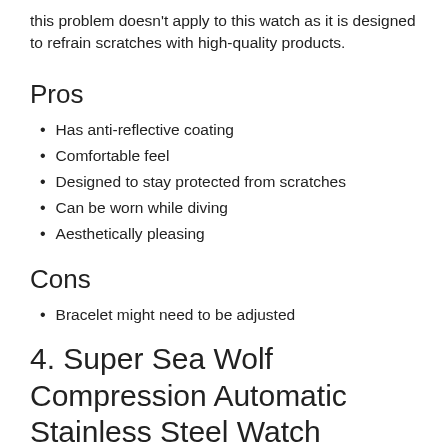this problem doesn't apply to this watch as it is designed to refrain scratches with high-quality products.
Pros
Has anti-reflective coating
Comfortable feel
Designed to stay protected from scratches
Can be worn while diving
Aesthetically pleasing
Cons
Bracelet might need to be adjusted
4. Super Sea Wolf Compression Automatic Stainless Steel Watch Review